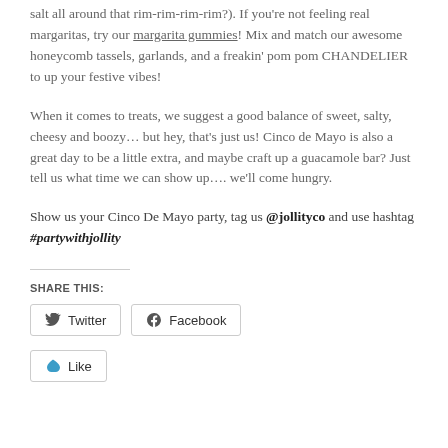salt all around that rim-rim-rim-rim?). If you're not feeling real margaritas, try our margarita gummies! Mix and match our awesome honeycomb tassels, garlands, and a freakin' pom pom CHANDELIER to up your festive vibes!
When it comes to treats, we suggest a good balance of sweet, salty, cheesy and boozy… but hey, that's just us! Cinco de Mayo is also a great day to be a little extra, and maybe craft up a guacamole bar? Just tell us what time we can show up…. we'll come hungry.
Show us your Cinco De Mayo party, tag us @jollityco and use hashtag #partywithjollity
SHARE THIS:
Twitter  Facebook
Like